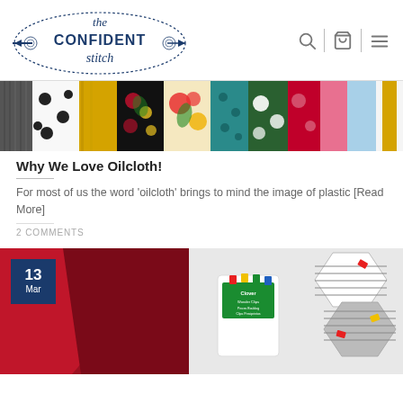[Figure (logo): The Confident Stitch logo with sewing needle and dotted cloud shape]
[Figure (photo): A row of colorful rolled fabric bolts viewed from the end — includes black/white polka dot, yellow, floral, teal dotted, pink floral, red, pink, light blue, and yellow stripe fabrics]
Why We Love Oilcloth!
For most of us the word 'oilcloth' brings to mind the image of plastic [Read More]
2 COMMENTS
[Figure (photo): Bottom article preview showing red fabric on the left and sewing notions (Clover Wonder Clips package and fabric hexagons with clips in black/white stripe and grey patterns) on the right, with a date badge showing 13 Mar in dark navy blue]